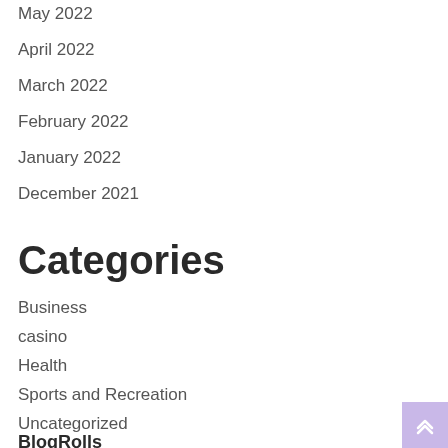May 2022
April 2022
March 2022
February 2022
January 2022
December 2021
Categories
Business
casino
Health
Sports and Recreation
Uncategorized
BlogRolls